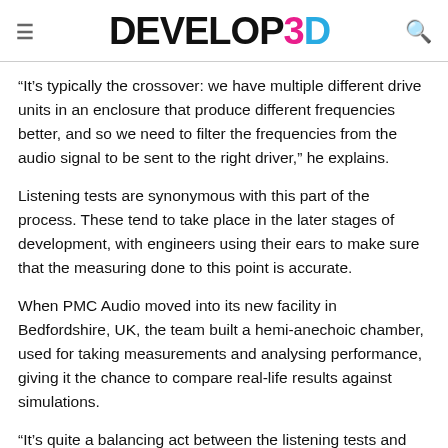DEVELOP3D
“It’s typically the crossover: we have multiple different drive units in an enclosure that produce different frequencies better, and so we need to filter the frequencies from the audio signal to be sent to the right driver,” he explains.
Listening tests are synonymous with this part of the process. These tend to take place in the later stages of development, with engineers using their ears to make sure that the measuring done to this point is accurate.
When PMC Audio moved into its new facility in Bedfordshire, UK, the team built a hemi-anechoic chamber, used for taking measurements and analysing performance, giving it the chance to compare real-life results against simulations.
“It’s quite a balancing act between the listening tests and the actual measurements,” says Thomas, “But as we get more sophisticated measurements, that gap starts to close